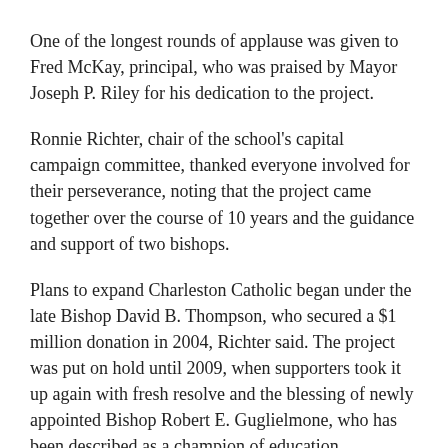One of the longest rounds of applause was given to Fred McKay, principal, who was praised by Mayor Joseph P. Riley for his dedication to the project.
Ronnie Richter, chair of the school's capital campaign committee, thanked everyone involved for their perseverance, noting that the project came together over the course of 10 years and the guidance and support of two bishops.
Plans to expand Charleston Catholic began under the late Bishop David B. Thompson, who secured a $1 million donation in 2004, Richter said. The project was put on hold until 2009, when supporters took it up again with fresh resolve and the blessing of newly appointed Bishop Robert E. Guglielmone, who has been described as a champion of education.
Cold, rainy weather forced the cancellation of some of the planned festivities at the dedication, but it didn't put a damper